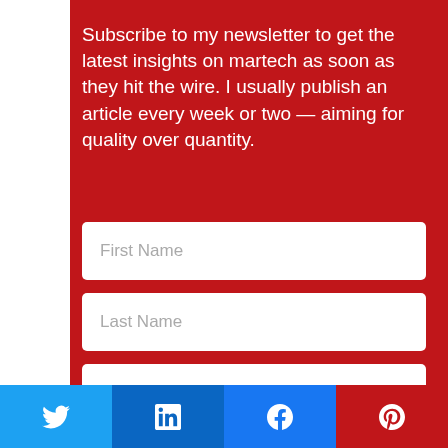Subscribe to my newsletter to get the latest insights on martech as soon as they hit the wire. I usually publish an article every week or two — aiming for quality over quantity.
[Figure (screenshot): Newsletter subscription form with First Name, Last Name, Email Address fields and a Subscribe button on a red background]
[Figure (infographic): Social share buttons row: Twitter (blue), LinkedIn (dark blue), Facebook (blue), Pinterest (red) with respective icons]